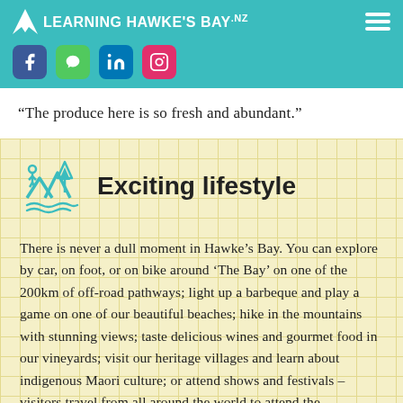LEARNING HAWKE'S BAY.NZ
[Figure (logo): Learning Hawke's Bay NZ logo with social media icons (Facebook, WeChat, LinkedIn, Instagram)]
“The produce here is so fresh and abundant.”
Exciting lifestyle
There is never a dull moment in Hawke’s Bay. You can explore by car, on foot, or on bike around ‘The Bay’ on one of the 200km of off-road pathways; light up a barbeque and play a game on one of our beautiful beaches; hike in the mountains with stunning views; taste delicious wines and gourmet food in our vineyards; visit our heritage villages and learn about indigenous Maori culture; or attend shows and festivals – visitors travel from all around the world to attend the International Horse of the Year show and Napier’s famous Art Deco Festival. You will be spoilt for